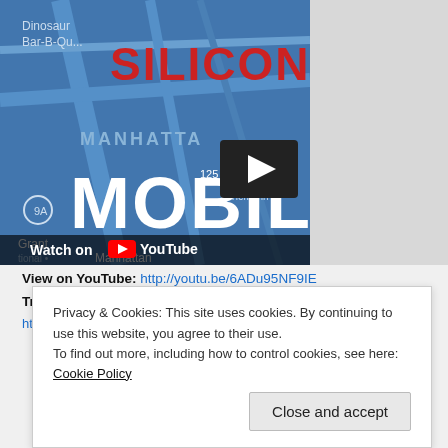[Figure (screenshot): YouTube video thumbnail showing a map of Manhattan with 'SILICON HA' text in red and 'MOBIL' text in white overlay. Shows '125 St', 'Tiemann', 'Grant', 'Manhattan' labels on map. Has a play button icon in dark box top right, and 'Watch on YouTube' text at bottom.]
View on YouTube: http://youtu.be/6ADu95NF9IE
Transcribe on AMARA:
http://www.amara.org/en/videos/you1XwZN4ROh/
Privacy & Cookies: This site uses cookies. By continuing to use this website, you agree to their use.
To find out more, including how to control cookies, see here: Cookie Policy
Close and accept